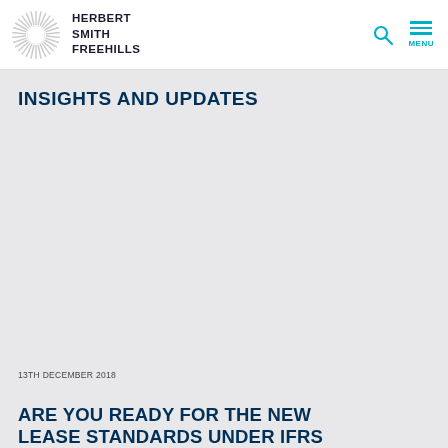HERBERT SMITH FREEHILLS
INSIGHTS AND UPDATES
13TH DECEMBER 2018
ARE YOU READY FOR THE NEW LEASE STANDARDS UNDER IFRS